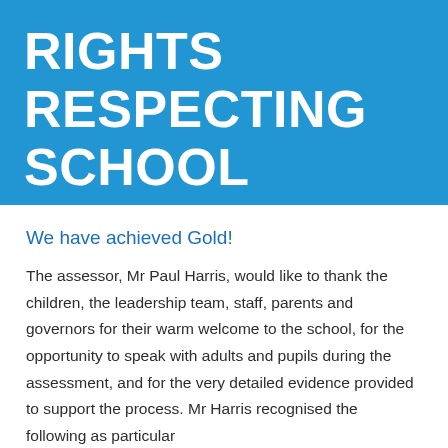RIGHTS RESPECTING SCHOOL
We have achieved Gold!
The assessor, Mr Paul Harris, would like to thank the children, the leadership team, staff, parents and governors for their warm welcome to the school, for the opportunity to speak with adults and pupils during the assessment, and for the very detailed evidence provided to support the process. Mr Harris recognised the following as particular